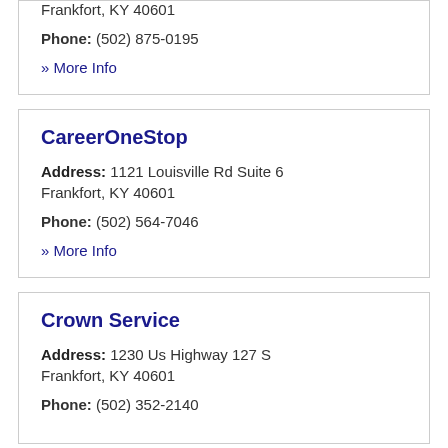Frankfort, KY 40601
Phone: (502) 875-0195
» More Info
CareerOneStop
Address: 1121 Louisville Rd Suite 6
Frankfort, KY 40601
Phone: (502) 564-7046
» More Info
Crown Service
Address: 1230 Us Highway 127 S
Frankfort, KY 40601
Phone: (502) 352-2140